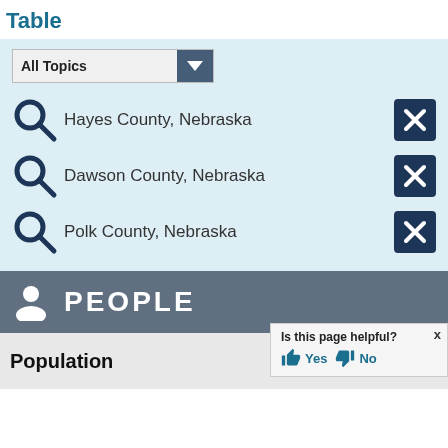Table
Hayes County, Nebraska
Dawson County, Nebraska
Polk County, Nebraska
PEOPLE
Population
Is this page helpful? Yes No